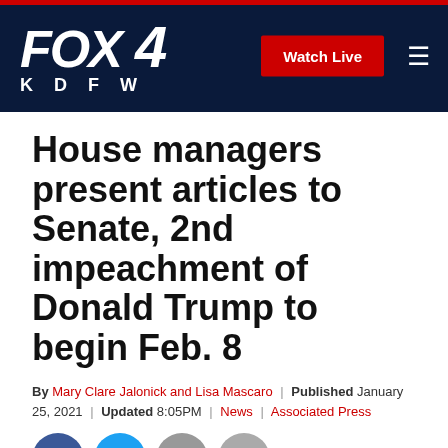FOX 4 KDFW | Watch Live
House managers present articles to Senate, 2nd impeachment of Donald Trump to begin Feb. 8
By Mary Clare Jalonick and Lisa Mascaro | Published January 25, 2021 | Updated 8:05PM | News | Associated Press
[Figure (other): Social sharing icons: Facebook, Twitter, Print, Email]